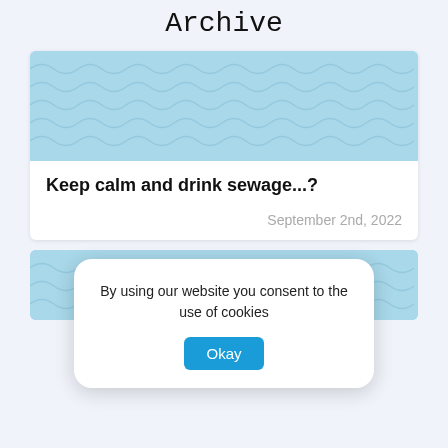Archive
[Figure (illustration): Blue wavy water pattern tile]
Keep calm and drink sewage...?
September 2nd, 2022
By using our website you consent to the use of cookies
[Figure (illustration): Blue wavy water pattern tile (partial, bottom of page)]